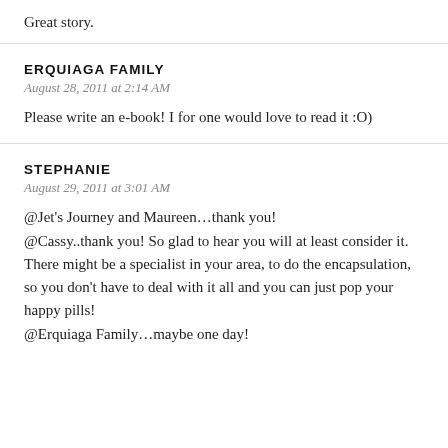Great story.
ERQUIAGA FAMILY
August 28, 2011 at 2:14 AM
Please write an e-book! I for one would love to read it :O)
STEPHANIE
August 29, 2011 at 3:01 AM
@Jet's Journey and Maureen…thank you!
@Cassy..thank you! So glad to hear you will at least consider it. There might be a specialist in your area, to do the encapsulation, so you don't have to deal with it all and you can just pop your happy pills!
@Erquiaga Family…maybe one day!